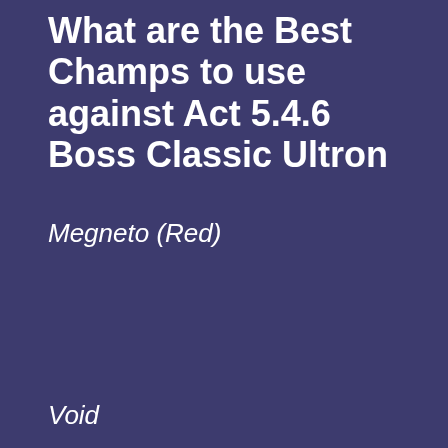What are the Best Champs to use against Act 5.4.6 Boss Classic Ultron
Megneto (Red)
Void